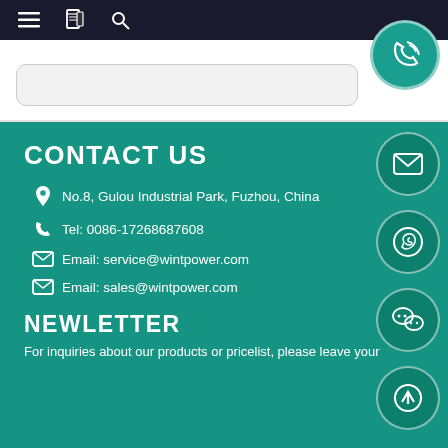[Figure (screenshot): Top navigation bar with hamburger menu, book icon, and search icon on dark background]
[Figure (screenshot): White search bar area with rounded search box and teal phone circle button on the right]
CONTACT US
No.8, Gulou Industrial Park, Fuzhou, China
Tel: 0086-17268687608
Email: service@wintpower.com
Email: sales@wintpower.com
NEWLETTER
For inquiries about our products or pricelist, please leave your